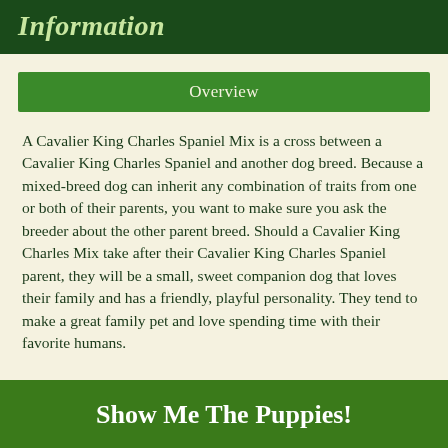Information
Overview
A Cavalier King Charles Spaniel Mix is a cross between a Cavalier King Charles Spaniel and another dog breed. Because a mixed-breed dog can inherit any combination of traits from one or both of their parents, you want to make sure you ask the breeder about the other parent breed. Should a Cavalier King Charles Mix take after their Cavalier King Charles Spaniel parent, they will be a small, sweet companion dog that loves their family and has a friendly, playful personality. They tend to make a great family pet and love spending time with their favorite humans.
Show Me The Puppies!